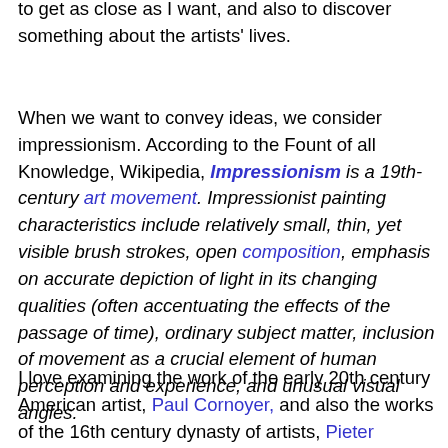to get as close as I want, and also to discover something about the artists' lives.
When we want to convey ideas, we consider impressionism. According to the Fount of all Knowledge, Wikipedia, Impressionism is a 19th-century art movement. Impressionist painting characteristics include relatively small, thin, yet visible brush strokes, open composition, emphasis on accurate depiction of light in its changing qualities (often accentuating the effects of the passage of time), ordinary subject matter, inclusion of movement as a crucial element of human perception and experience, and unusual visual angles.
I love examining the work of the early 20th century American artist, Paul Cornoyer, and also the works of the 16th century dynasty of artists, Pieter Bruegel, and his